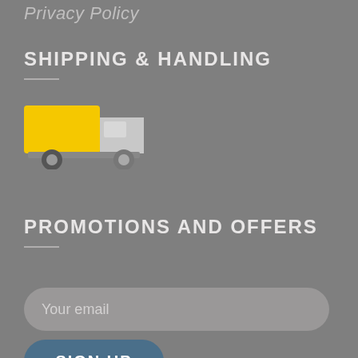Privacy Policy
SHIPPING & HANDLING
[Figure (illustration): Yellow delivery truck icon on gray background]
PROMOTIONS AND OFFERS
Your email
SIGN UP